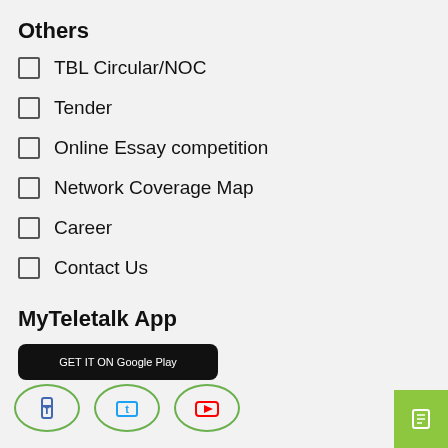Others
TBL Circular/NOC
Tender
Online Essay competition
Network Coverage Map
Career
Contact Us
MyTeletalk App
[Figure (screenshot): Black rounded app download button (Google Play or similar)]
[Figure (infographic): Three social media icons in oval green-bordered circles at the bottom: Facebook (blue), Twitter (blue), YouTube (red). A green square button in the bottom-right corner.]